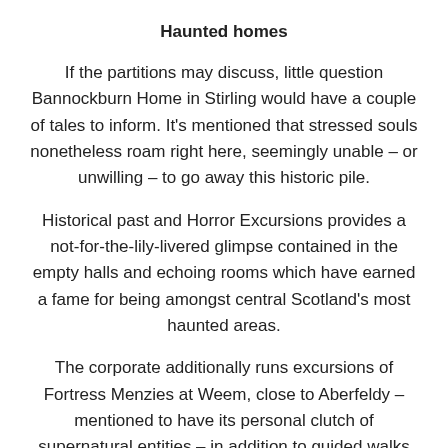Haunted homes
If the partitions may discuss, little question Bannockburn Home in Stirling would have a couple of tales to inform. It's mentioned that stressed souls nonetheless roam right here, seemingly unable – or unwilling – to go away this historic pile.
Historical past and Horror Excursions provides a not-for-the-lily-livered glimpse contained in the empty halls and echoing rooms which have earned a fame for being amongst central Scotland's most haunted areas.
The corporate additionally runs excursions of Fortress Menzies at Weem, close to Aberfeldy – mentioned to have its personal clutch of supernatural entities – in addition to guided walks round Dunkeld and Perth, shining a highlight on darkish tales of witches, ghosts, grave robbers,